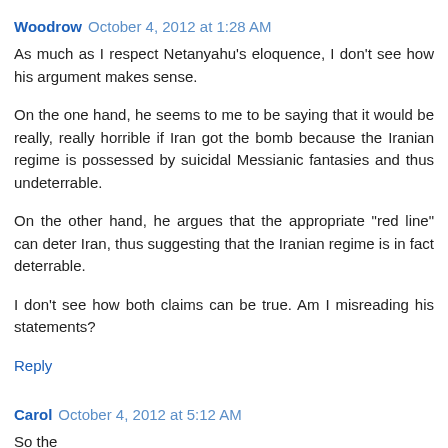Woodrow October 4, 2012 at 1:28 AM
As much as I respect Netanyahu's eloquence, I don't see how his argument makes sense.
On the one hand, he seems to me to be saying that it would be really, really horrible if Iran got the bomb because the Iranian regime is possessed by suicidal Messianic fantasies and thus undeterrable.
On the other hand, he argues that the appropriate "red line" can deter Iran, thus suggesting that the Iranian regime is in fact deterrable.
I don't see how both claims can be true. Am I misreading his statements?
Reply
Carol October 4, 2012 at 5:12 AM
So the